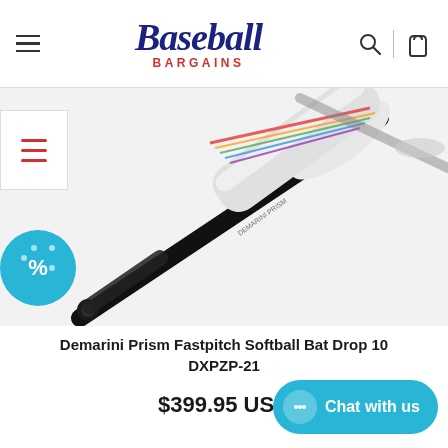[Figure (logo): Baseball Bargains logo with script text 'Baseball' in dark blue and 'BARGAINS' in red below]
[Figure (photo): Demarini Prism Fastpitch Softball Bat with colorful holographic barrel design on white/grey background, shown at diagonal angle]
Demarini Prism Fastpitch Softball Bat Drop 10 DXPZP-21
$399.95 USD